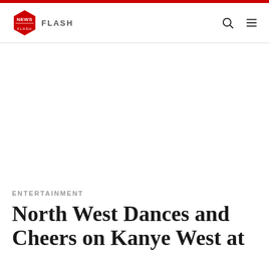NEWS FLASH
ENTERTAINMENT
North West Dances and Cheers on Kanye West at